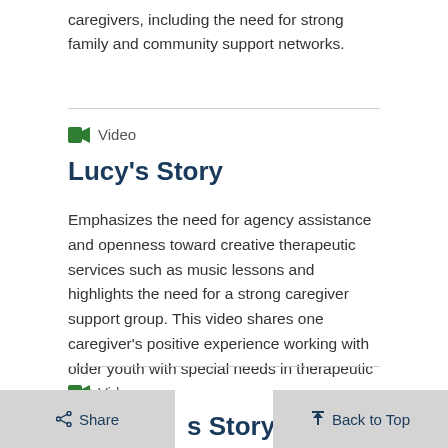caregivers, including the need for strong family and community support networks.
Video
Lucy's Story
Emphasizes the need for agency assistance and openness toward creative therapeutic services such as music lessons and highlights the need for a strong caregiver support group. This video shares one caregiver’s positive experience working with older youth with special needs in therapeutic foster care.
Video
s Story
Share
Back to Top